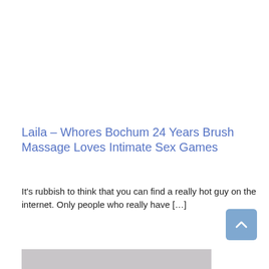Laila – Whores Bochum 24 Years Brush Massage Loves Intimate Sex Games
It's rubbish to think that you can find a really hot guy on the internet. Only people who really have […]
[Figure (photo): Photo of a young woman with dark hair partially visible at bottom of page]